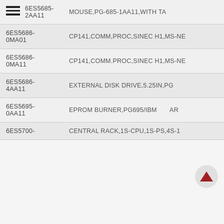| Part Number | Description |
| --- | --- |
| 6ES5685-2AA11 | MOUSE,PG-685-1AA11,WITH TA |
| 6ES5686-0MA01 | CP141,COMM,PROC,SINEC H1,MS-NE |
| 6ES5686-0MA11 | CP141,COMM.PROC,SINEC H1,MS-NE |
| 6ES5686-4AA11 | EXTERNAL DISK DRIVE,5.25IN,PG |
| 6ES5695-0AA11 | EPROM BURNER,PG695/IBM AR |
| 6ES5700- | CENTRAL RACK,1S-CPU,1S-PS,4S-I |